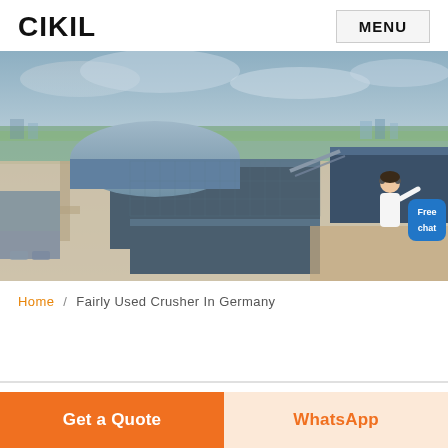CIKIL   MENU
[Figure (photo): Aerial view of a large industrial facility with several large grey warehouse/factory buildings, green fields and cityscape in the background, blue sky with clouds. A customer service representative icon and 'Free chat' blue badge overlay in the bottom right.]
Home / Fairly Used Crusher In Germany
Get a Quote   WhatsApp